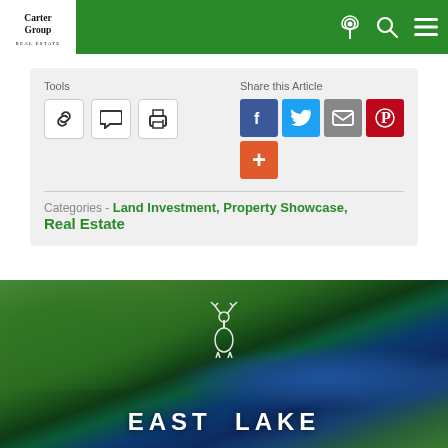[Figure (logo): Carter Group Real Estate logo — white box in top-left corner with serif text]
[Figure (infographic): Green navigation header bar with location pin, search, and hamburger menu icons]
Tools
[Figure (infographic): Three tool buttons: chain link, speech bubble, printer]
Share this Article
[Figure (infographic): Social sharing buttons: Facebook (blue), Twitter (cyan), Email (gray), Pinterest (red), plus button (orange)]
Categories - Land Investment, Property Showcase, Real Estate
[Figure (photo): Aerial photo of East Lake showing forested shoreline and lake with EAST LAKE text overlay and deer logo]